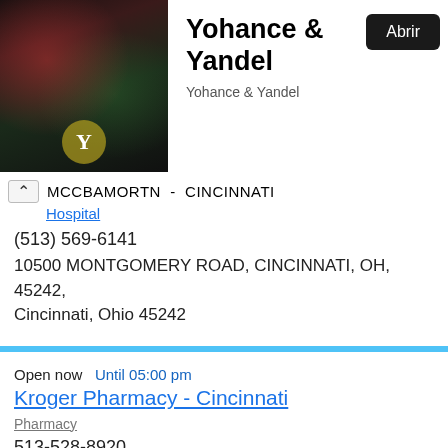[Figure (screenshot): App banner showing Yohance & Yandel album art with dark background and two figures, alongside title and Abrir button]
Yohance & Yandel
Yohance & Yandel
Abrir
MCCBAMORTN - CINCINNATI
Hospital
(513) 569-6141
10500 MONTGOMERY ROAD, CINCINNATI, OH, 45242, Cincinnati, Ohio 45242
Open now   Until 05:00 pm
Kroger Pharmacy - Cincinnati
Pharmacy
513-528-8920
550 Cincinnati Batavia Pike, Ohio, Cincinnati, 45244, Cincinnati, Ohio 45244
Open now   Until 05:00 pm
CVS Pharmacy - Cincinnati